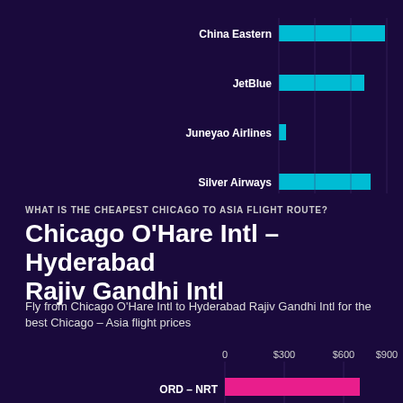[Figure (bar-chart): Airlines (top chart)]
WHAT IS THE CHEAPEST CHICAGO TO ASIA FLIGHT ROUTE?
Chicago O'Hare Intl – Hyderabad Rajiv Gandhi Intl
Fly from Chicago O'Hare Intl to Hyderabad Rajiv Gandhi Intl for the best Chicago – Asia flight prices
[Figure (bar-chart): Cheapest Chicago to Asia flight routes]